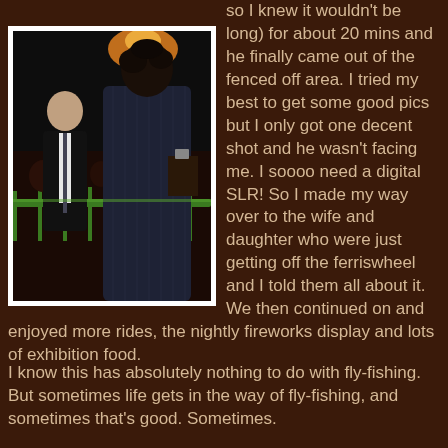so I knew it wouldn't be long) for about 20 mins and he finally came out of the fenced off area. I tried my best to get some good pics but I only got one decent shot and he wasn't facing me. I soooo need a digital SLR! So I made my way over to the wife and daughter who were just getting off the ferriswheel and I told them all about it. We then continued on and enjoyed more rides, the nightly fireworks display and lots of exhibition food.
[Figure (photo): Outdoor night photo showing a man in a dark pinstripe suit with his back to camera, a bald man in a black suit with tie to the left, and a crowd behind green metal barriers in the background with warm orange light above.]
I know this has absolutely nothing to do with fly-fishing. But sometimes life gets in the way of fly-fishing, and sometimes that's good. Sometimes.